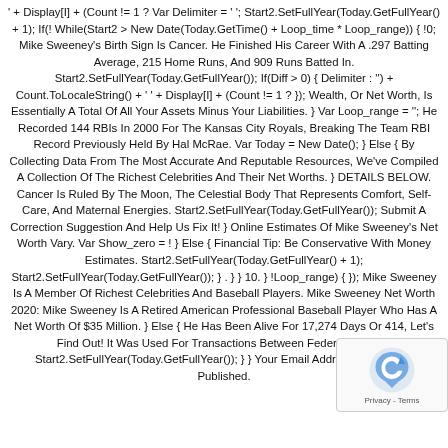' + Display[I] + (Count != 1 ? Var Delimiter = ' '; Start2.SetFullYear(Today.GetFullYear() + 1); If(! While(Start2 > New Date(Today.GetTime() + Loop_time * Loop_range)) { !0; Mike Sweeney's Birth Sign Is Cancer. He Finished His Career With A .297 Batting Average, 215 Home Runs, And 909 Runs Batted In. Start2.SetFullYear(Today.GetFullYear()); If(Diff > 0) { Delimiter : '') + Count.ToLocaleString() + ' ' + Display[I] + (Count != 1 ? }); Wealth, Or Net Worth, Is Essentially A Total Of All Your Assets Minus Your Liabilities. } Var Loop_range = ''; He Recorded 144 RBIs In 2000 For The Kansas City Royals, Breaking The Team RBI Record Previously Held By Hal McRae. Var Today = New Date(); } Else { By Collecting Data From The Most Accurate And Reputable Resources, We've Compiled A Collection Of The Richest Celebrities And Their Net Worths. } DETAILS BELOW. Cancer Is Ruled By The Moon, The Celestial Body That Represents Comfort, Self-Care, And Maternal Energies. Start2.SetFullYear(Today.GetFullYear()); Submit A Correction Suggestion And Help Us Fix It! } Online Estimates Of Mike Sweeney's Net Worth Vary. Var Show_zero = ! } Else { Financial Tip: Be Conservative With Money Estimates. Start2.SetFullYear(Today.GetFullYear() + 1); Start2.SetFullYear(Today.GetFullYear()); } . } } 10. } !Loop_range) { }); Mike Sweeney Is A Member Of Richest Celebrities And Baseball Players. Mike Sweeney Net Worth 2020: Mike Sweeney Is A Retired American Professional Baseball Player Who Has A Net Worth Of $35 Million. } Else { He Has Been Alive For 17,274 Days Or 414, Let's Find Out! It Was Used For Transactions Between Federal Reserve Start2.SetFullYear(Today.GetFullYear()); } } Your Email Address Will Not Be Published.
[Figure (other): reCAPTCHA widget overlay in bottom-right corner showing the reCAPTCHA logo and 'Privacy - Terms' text]